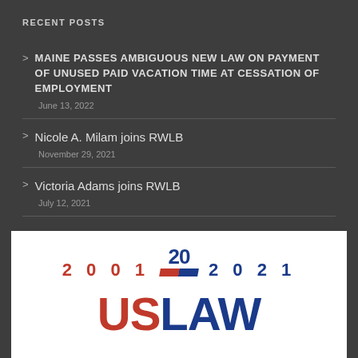RECENT POSTS
MAINE PASSES AMBIGUOUS NEW LAW ON PAYMENT OF UNUSED PAID VACATION TIME AT CESSATION OF EMPLOYMENT
June 13, 2022
Nicole A. Milam joins RWLB
November 29, 2021
Victoria Adams joins RWLB
July 12, 2021
[Figure (logo): USLAW Network 20th anniversary logo showing '2001 [20] 2021' above 'USLAW' in red and blue letters]